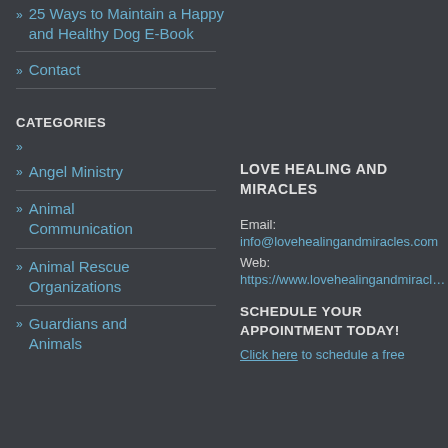25 Ways to Maintain a Happy and Healthy Dog E-Book
Contact
CATEGORIES
Angel Ministry
Animal Communication
Animal Rescue Organizations
Guardians and Animals
LOVE HEALING AND MIRACLES
Email: info@lovehealingandmiracles.com
Web: https://www.lovehealingandmiracles.com
SCHEDULE YOUR APPOINTMENT TODAY!
Click here to schedule a free